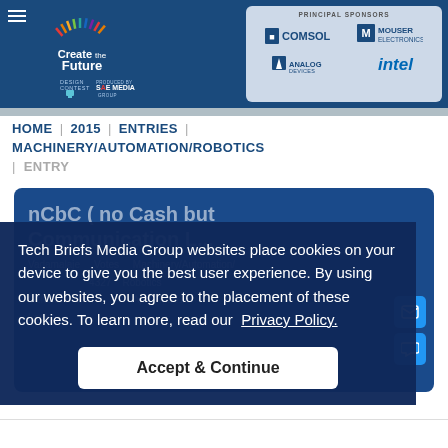Create the Future Design Contest — PRINCIPAL SPONSORS: COMSOL, MOUSER ELECTRONICS, ANALOG DEVICES, intel
HOME | 2015 | ENTRIES | MACHINERY/AUTOMATION/ROBOTICS | ENTRY
nCbC ( no Cash but Communication C...
Vadamalaje   Votes   Machinery/Automation/
...   4327   Robotics
Colombo  Sr...   Apr 14, 2015
Lanka
Tech Briefs Media Group websites place cookies on your device to give you the best user experience. By using our websites, you agree to the placement of these cookies. To learn more, read our Privacy Policy.
Accept & Continue